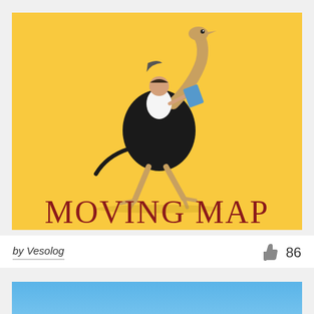[Figure (logo): Moving Map Pictures logo on yellow background — cartoon illustration of a man riding an ostrich, with text 'MOVING MAP' in large dark red serif font and 'PICTURES' in spaced sans-serif below]
by Vesolog
86
[Figure (photo): Partial view of a second image card with blue sky background, cropped at bottom of page]